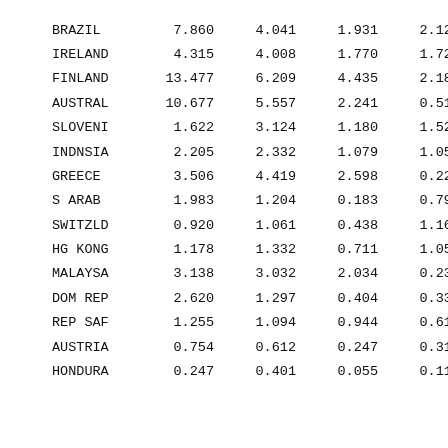| BRAZIL | 7.860 | 4.041 | 1.931 | 2.129 |
| IRELAND | 4.315 | 4.008 | 1.770 | 1.721 |
| FINLAND | 13.477 | 6.209 | 4.435 | 2.183 |
| AUSTRAL | 10.677 | 5.557 | 2.241 | 0.519 |
| SLOVENI | 1.622 | 3.124 | 1.180 | 1.528 |
| INDNSIA | 2.205 | 2.332 | 1.079 | 1.053 |
| GREECE | 3.506 | 4.419 | 2.598 | 0.224 |
| S ARAB | 1.983 | 1.204 | 0.183 | 0.795 |
| SWITZLD | 0.920 | 1.061 | 0.438 | 1.166 |
| HG KONG | 1.178 | 1.332 | 0.711 | 1.057 |
| MALAYSA | 3.138 | 3.032 | 2.034 | 0.235 |
| DOM REP | 2.620 | 1.297 | 0.404 | 0.335 |
| REP SAF | 1.255 | 1.094 | 0.944 | 0.615 |
| AUSTRIA | 0.754 | 0.612 | 0.247 | 0.318 |
| HONDURA | 0.247 | 0.401 | 0.055 | 0.118 |